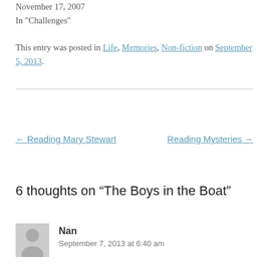November 17, 2007
In "Challenges"
This entry was posted in Life, Memories, Non-fiction on September 5, 2013.
← Reading Mary Stewart    Reading Mysteries →
6 thoughts on “The Boys in the Boat”
Nan
September 7, 2013 at 6:40 am